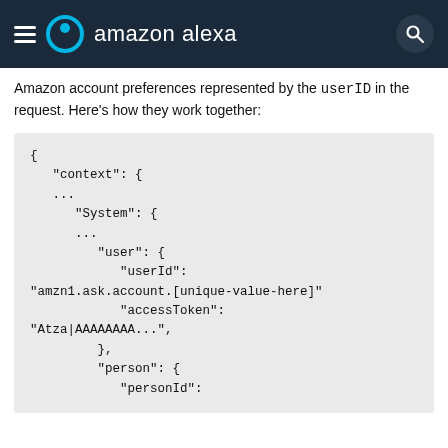amazon alexa
Amazon account preferences represented by the userID in the request. Here's how they work together:
[Figure (screenshot): Code block showing JSON structure with context, System, user, userId, accessToken, person, personId fields]